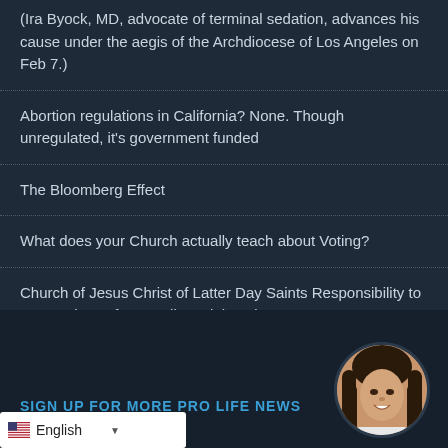(Ira Byock, MD, advocate of terminal sedation, advances his cause under the aegis of the Archdiocese of Los Angeles on Feb 7.)
Abortion regulations in California? None. Though unregulated, it's government funded
The Bloomberg Effect
What does your Church actually teach about Voting?
Church of Jesus Christ of Latter Day Saints Responsibility to vote and vote for morally upright values
SIGN UP FOR MORE PRO LIFE NEWS
[Figure (photo): Circular avatar photo of a smiling young woman with dark hair]
English